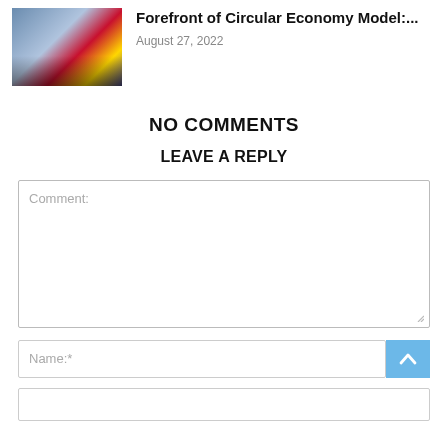[Figure (photo): Thumbnail photo of a panel discussion or conference event with people seated at a table, colorful banners in background]
Forefront of Circular Economy Model:...
August 27, 2022
NO COMMENTS
LEAVE A REPLY
Comment:
Name:*